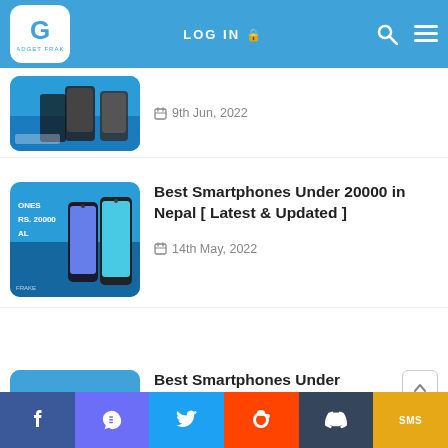LOG IN | Gadget Frake
[Figure (screenshot): Partial article thumbnail showing smartphones on blue background]
9th Jun, 2022
[Figure (screenshot): Article thumbnail: smartphones on blue background with text PHONES RS. 20000 AL]
Best Smartphones Under 20000 in Nepal [ Latest & Updated ]
14th May, 2022
[Figure (screenshot): Partial thumbnail for next article (blue)]
Best Smartphones Under
f | Messenger | Twitter | Reddit | Tumblr | SMS